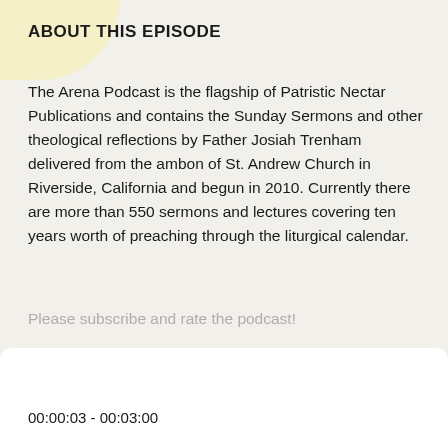ABOUT THIS EPISODE
The Arena Podcast is the flagship of Patristic Nectar Publications and contains the Sunday Sermons and other theological reflections by Father Josiah Trenham delivered from the ambon of St. Andrew Church in Riverside, California and begun in 2010. Currently there are more than 550 sermons and lectures covering ten years worth of preaching through the liturgical calendar.
Please subscribe and rate the podcast!
00:00:03 - 00:03:00